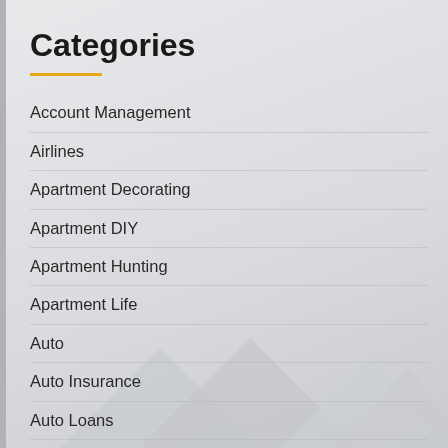Categories
Account Management
Airlines
Apartment Decorating
Apartment DIY
Apartment Hunting
Apartment Life
Auto
Auto Insurance
Auto Loans
Banking